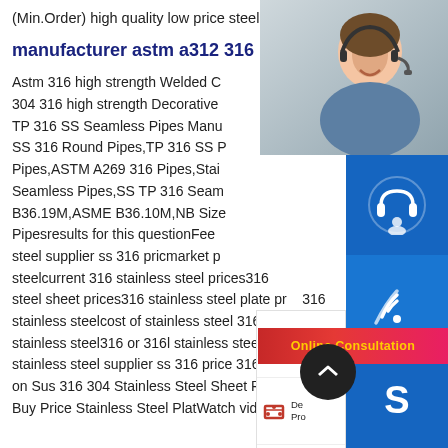(Min.Order) high quality low price steel plate 316
manufacturer astm a312 316...
Astm 316 high strength Welded C... 304 316 high strength Decorative TP 316 SS Seamless Pipes Manu... SS 316 Round Pipes,TP 316 SS P... Pipes,ASTM A269 316 Pipes,Stai... Seamless Pipes,SS TP 316 Seam... B36.19M,ASME B36.10M,NB Size... Pipesresults for this questionFee... steel supplier ss 316 pricmarket p... steelcurrent 316 stainless steel prices316... steel sheet prices316 stainless steel plate pr... 316 stainless steelcost of stainless steel 316what is 316 stainless steel316 or 316l stainless steelVideos of 316 stainless steel supplier ss 316 price 316 Watch video on Sus 316 304 Stainless Steel Sheet Plate Price - Buy Price Stainless Steel PlatWatch video on Hot
[Figure (photo): Customer service representative woman with headset smiling]
[Figure (infographic): Sidebar menu with icons: Steel Construction, Deep Processing, Local answering, After Service - with blue action buttons for headset, phone, skype and Online Consultation bar]